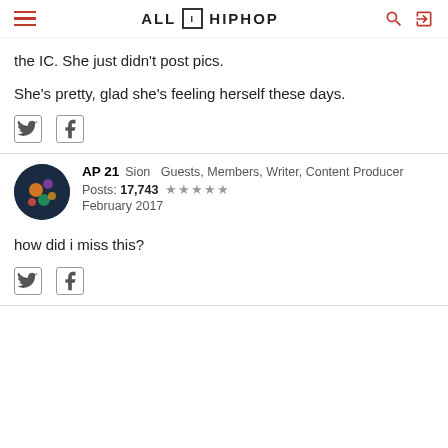ALL HIP HOP
the IC. She just didn't post pics.
She's pretty, glad she's feeling herself these days.
[Figure (other): Twitter and Facebook social share icons]
AP21  Sion  Guests, Members, Writer, Content Producer
Posts: 17,743  ★★★★★
February 2017
how did i miss this?
[Figure (other): Twitter and Facebook social share icons]